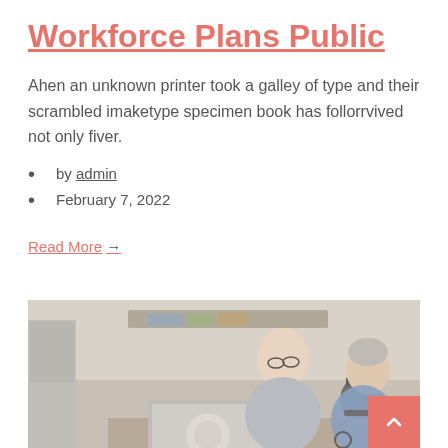Workforce Plans Public
Ahen an unknown printer took a galley of type and their scrambled imaketype specimen book has follorrvived not only fiver.
by admin
February 7, 2022
Read More →
[Figure (photo): An elderly man with glasses and a woman in a wheelchair sit together at a kitchen table looking at a laptop computer]